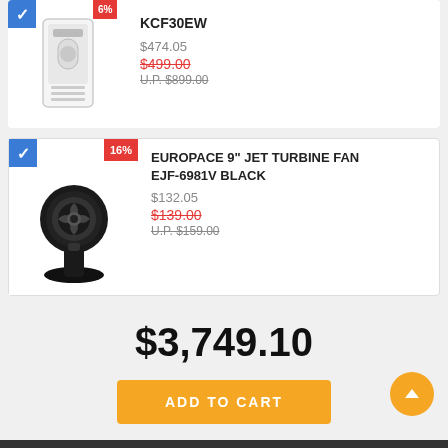[Figure (photo): Partial product card for air purifier KCF30EW showing product image, price $474.05, sale price $499.00 (strikethrough red), U.P. $899.00 (strikethrough)]
[Figure (photo): Product card for EUROPACE 9" JET TURBINE FAN EJF-6981V BLACK with 16% badge, price $132.05, sale price $139.00 (strikethrough red), U.P. $159.00 (strikethrough)]
$3,749.10
ADD TO CART